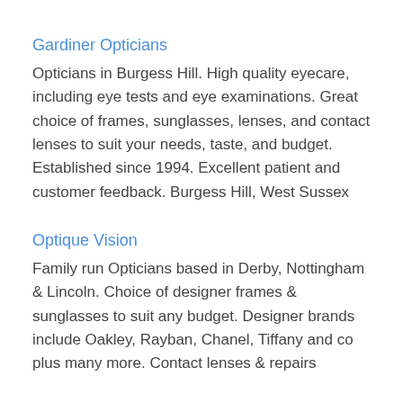Gardiner Opticians
Opticians in Burgess Hill. High quality eyecare, including eye tests and eye examinations. Great choice of frames, sunglasses, lenses, and contact lenses to suit your needs, taste, and budget. Established since 1994. Excellent patient and customer feedback. Burgess Hill, West Sussex
Optique Vision
Family run Opticians based in Derby, Nottingham & Lincoln. Choice of designer frames & sunglasses to suit any budget. Designer brands include Oakley, Rayban, Chanel, Tiffany and co plus many more. Contact lenses & repairs